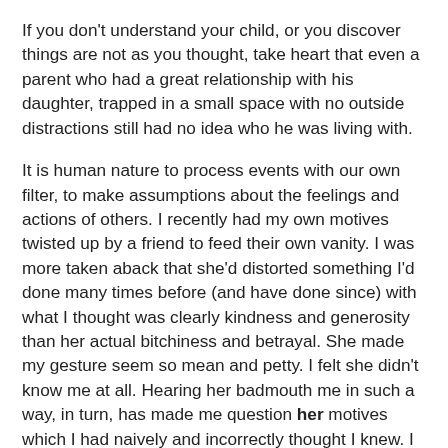If you don't understand your child, or you discover things are not as you thought, take heart that even a parent who had a great relationship with his daughter, trapped in a small space with no outside distractions still had no idea who he was living with.
It is human nature to process events with our own filter, to make assumptions about the feelings and actions of others. I recently had my own motives twisted up by a friend to feed their own vanity. I was more taken aback that she'd distorted something I'd done many times before (and have done since) with what I thought was clearly kindness and generosity than her actual bitchiness and betrayal. She made my gesture seem so mean and petty. I felt she didn't know me at all. Hearing her badmouth me in such a way, in turn, has made me question her motives which I had naively and incorrectly thought I knew. I see her behaviour in relation to me a little more clearly now, and can I see how it has tainted some other past interactions, that at the time I found odd  but couldn't place why.  It's all makes more sense to me now.